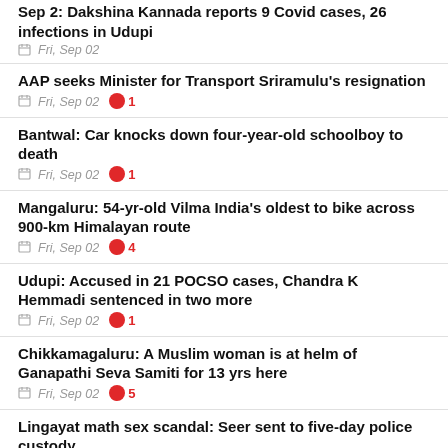Sep 2: Dakshina Kannada reports 9 Covid cases, 26 infections in Udupi
Fri, Sep 02
AAP seeks Minister for Transport Sriramulu's resignation
Fri, Sep 02 💬1
Bantwal: Car knocks down four-year-old schoolboy to death
Fri, Sep 02 💬1
Mangaluru: 54-yr-old Vilma India's oldest to bike across 900-km Himalayan route
Fri, Sep 02 💬4
Udupi: Accused in 21 POCSO cases, Chandra K Hemmadi sentenced in two more
Fri, Sep 02 💬1
Chikkamagaluru: A Muslim woman is at helm of Ganapathi Seva Samiti for 13 yrs here
Fri, Sep 02 💬5
Lingayat math sex scandal: Seer sent to five-day police custody
Fri, Sep 02
Double engine govt in centre, state working relentlessly for public, says PM Modi in Mangaluru